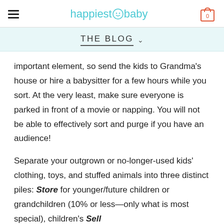happiest baby
THE BLOG
important element, so send the kids to Grandma’s house or hire a babysitter for a few hours while you sort. At the very least, make sure everyone is parked in front of a movie or napping. You will not be able to effectively sort and purge if you have an audience!
Separate your outgrown or no-longer-used kids’ clothing, toys, and stuffed animals into three distinct piles: Store for younger/future children or grandchildren (10% or less—only what is most special), children’s Sell